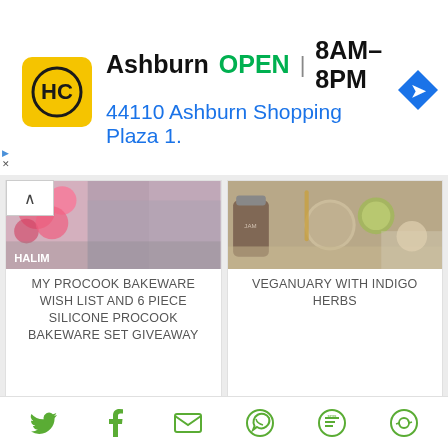[Figure (other): Advertisement banner: HC logo (yellow circle with HC text), Ashburn OPEN 8AM-8PM, 44110 Ashburn Shopping Plaza 1., blue navigation arrow icon]
[Figure (photo): Food/flowers arrangement photo - top left card image]
MY PROCOOK BAKEWARE WISH LIST AND 6 PIECE SILICONE PROCOOK BAKEWARE SET GIVEAWAY
[Figure (photo): Jars and food items on table - top right card image (Veganuary with Indigo Herbs)]
VEGANUARY WITH INDIGO HERBS
[Figure (photo): Person wearing red and white patterned apron/dress - bottom left card]
[Figure (photo): Cake with powdered sugar on plates - bottom right card]
[Figure (infographic): Social share bar with icons: Twitter bird, Facebook f, Email envelope, WhatsApp, SMS bubble, Share/recycle icon - all in green color]